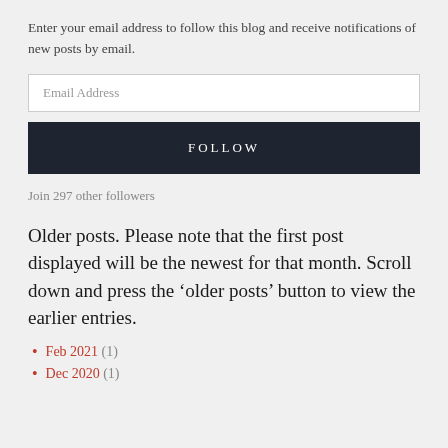Enter your email address to follow this blog and receive notifications of new posts by email.
Email Address
FOLLOW
Join 297 other followers
Older posts. Please note that the first post displayed will be the newest for that month. Scroll down and press the ‘older posts’ button to view the earlier entries.
Feb 2021 (1)
Dec 2020 (1)